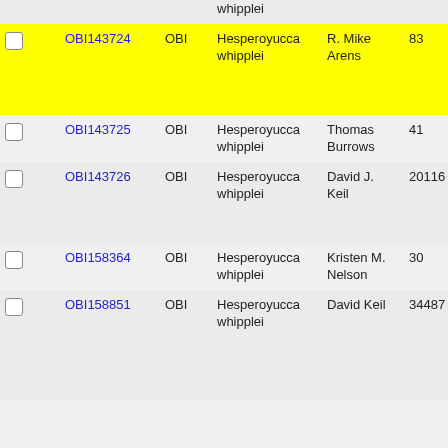|  | ID | Source | Species | Collector | Count |
| --- | --- | --- | --- | --- | --- |
|  |  |  | Hesperoyucca whipplei |  |  |
| ☐ | OBI143724 | OBI | Hesperoyucca whipplei | R. Mike Arens | 83 |
| ☐ | OBI143725 | OBI | Hesperoyucca whipplei | Thomas Burrows | 41 |
| ☐ | OBI143726 | OBI | Hesperoyucca whipplei | David J. Keil | 20116 |
| ☐ | OBI158364 | OBI | Hesperoyucca whipplei | Kristen M. Nelson | 30 |
| ☐ | OBI158851 | OBI | Hesperoyucca whipplei | David Keil | 34487 |